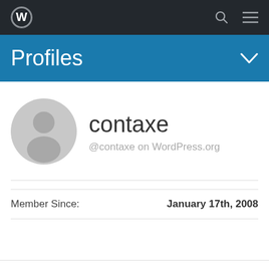WordPress navigation bar with logo, search and menu icons
Profiles
[Figure (illustration): Grey circular avatar placeholder with silhouette of a person]
contaxe
@contaxe on WordPress.org
Member Since: January 17th, 2008